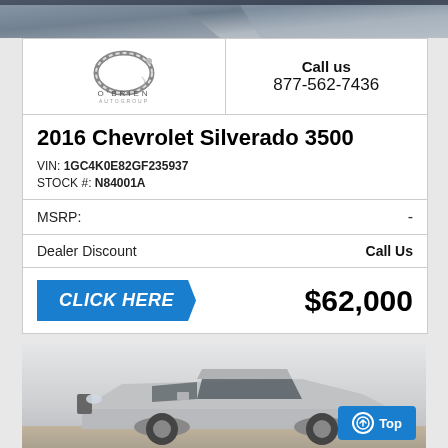[Figure (photo): Partial car photo at top of page, dark/grey tones]
[Figure (logo): O'Brien Auto Group logo — oval chrome ring with O'BRIEN AUTOGROUP text]
Call us
877-562-7436
2016 Chevrolet Silverado 3500
VIN: 1GC4K0E82GF235937
STOCK #: N84001A
| MSRP: | - |
| Dealer Discount | Call Us |
CLICK HERE
$62,000
[Figure (photo): Silver Chevrolet Silverado 3500 truck photographed from front-left angle in a studio/lot setting]